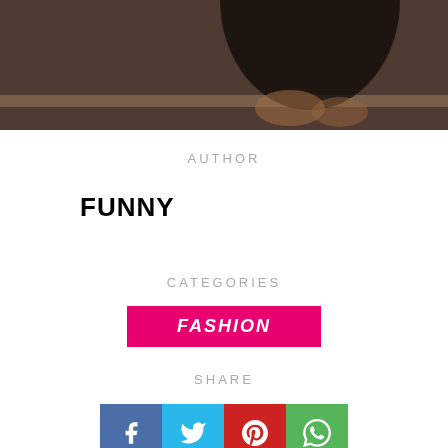[Figure (photo): Dark banner photo showing a person from the torso down, dark background, warm light from behind]
AUTHOR
FUNNY
CATEGORIES
FASHION
SHARE
[Figure (infographic): Social share buttons: Facebook (blue), Twitter (light blue), Pinterest (red), WhatsApp (green)]